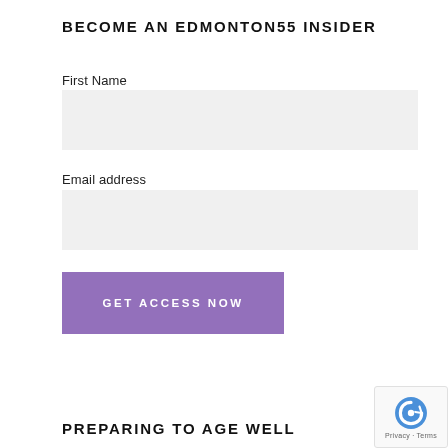BECOME AN EDMONTON55 INSIDER
First Name
Email address
[Figure (other): Purple button labeled GET ACCESS NOW]
PREPARING TO AGE WELL
[Figure (other): reCAPTCHA badge with Privacy and Terms links]